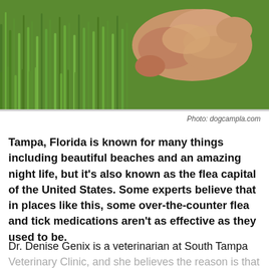[Figure (photo): A dog lying or rolling in green grass, photographed from above showing the animal's tan/golden fur against lush green grass]
Photo: dogcampla.com
Tampa, Florida is known for many things including beautiful beaches and an amazing night life, but it’s also known as the flea capital of the United States. Some experts believe that in places like this, some over-the-counter flea and tick medications aren’t as effective as they used to be.
Dr. Denise Genix is a veterinarian at South Tampa Veterinary Clinic, and she believes the reason is that